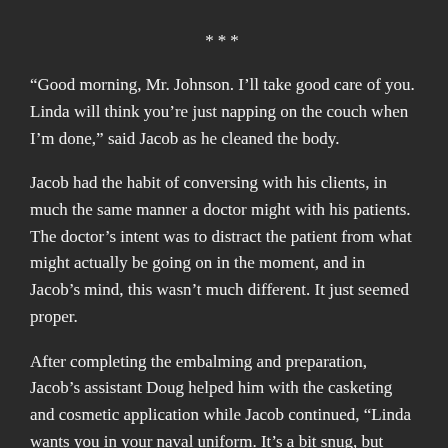***
“Good morning, Mr. Johnson. I’ll take good care of you. Linda will think you’re just napping on the couch when I’m done,” said Jacob as he cleaned the body.
Jacob had the habit of conversing with his clients, in much the same manner a doctor might with his patients. The doctor’s intent was to distract the patient from what might actually be going on in the moment, and in Jacob’s mind, this wasn’t much different. It just seemed proper.
After completing the embalming and preparation, Jacob’s assistant Doug helped him with the casketing and cosmetic application while Jacob continued, “Linda wants you in your naval uniform. It’s a bit snug, but we’ll make it work. We’ll get those brass buttons and your medal all